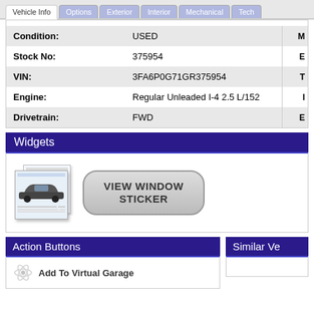Vehicle Info | Options | Exterior | Interior | Mechanical | Tech
| Field | Value |  |
| --- | --- | --- |
| Condition: | USED | M |
| Stock No: | 375954 | E |
| VIN: | 3FA6P0G71GR375954 | T |
| Engine: | Regular Unleaded I-4 2.5 L/152 | I |
| Drivetrain: | FWD | E |
Widgets
[Figure (screenshot): VIEW WINDOW STICKER button with a document and car icon]
Action Buttons
Similar Ve
Add To Virtual Garage